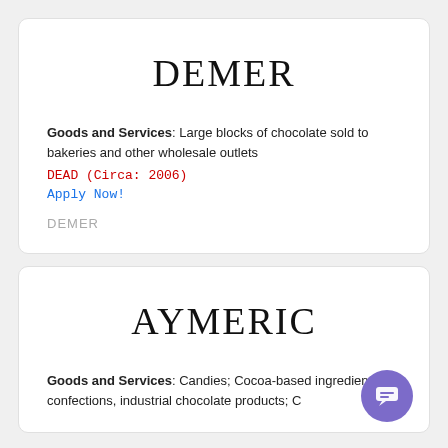DEMER
Goods and Services: Large blocks of chocolate sold to bakeries and other wholesale outlets
DEAD (Circa: 2006)
Apply Now!
DEMER
AYMERIC
Goods and Services: Candies; Cocoa-based ingredients in confections, industrial chocolate products; C...